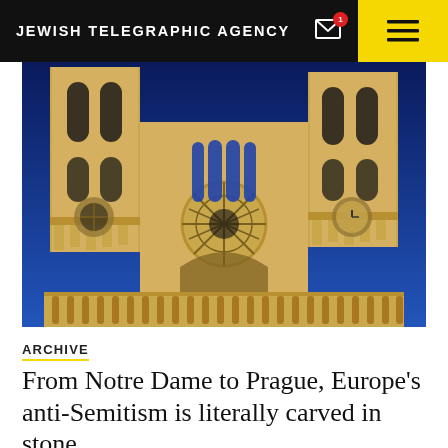JEWISH TELEGRAPHIC AGENCY
[Figure (photo): Facade of Notre Dame Cathedral in Paris, illuminated at night against a deep blue sky, showing the two towers, rose window, and gallery of kings statues.]
ARCHIVE
From Notre Dame to Prague, Europe's anti-Semitism is literally carved in stone